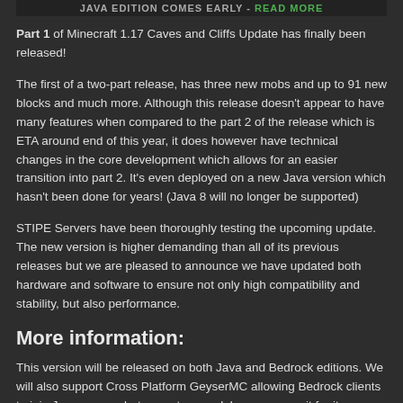JAVA EDITION COMES EARLY - READ MORE
Part 1 of Minecraft 1.17 Caves and Cliffs Update has finally been released!
The first of a two-part release, has three new mobs and up to 91 new blocks and much more. Although this release doesn't appear to have many features when compared to the part 2 of the release which is ETA around end of this year, it does however have technical changes in the core development which allows for an easier transition into part 2. It's even deployed on a new Java version which hasn't been done for years! (Java 8 will no longer be supported)
STIPE Servers have been thoroughly testing the upcoming update. The new version is higher demanding than all of its previous releases but we are pleased to announce we have updated both hardware and software to ensure not only high compatibility and stability, but also performance.
More information:
This version will be released on both Java and Bedrock editions. We will also support Cross Platform GeyserMC allowing Bedrock clients to join Java servers but expect some delays as we wait for its release. Customers should note that Spigot may also have a delayed release so if you rely on plugins, expect to wait a few